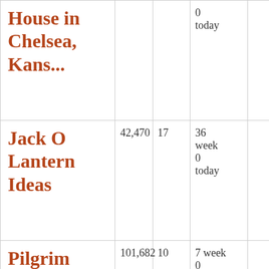| House in Chelsea, Kans... |  |  | 0
today |  |
| Jack O Lantern Ideas | 42,470 | 17 | 36 week
0
today |  |
| Pilgrim... | 101,682 | 10 | 7 week
0
today |  |